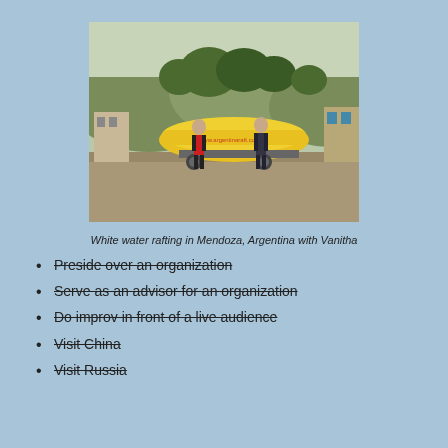[Figure (photo): Two people standing with a large yellow inflatable raft on a trailer, outdoors with hills and trees in the background, in Mendoza, Argentina.]
White water rafting in Mendoza, Argentina with Vanitha
Preside over an organization
Serve as an advisor for an organization
Do improv in front of a live audience
Visit China
Visit Russia